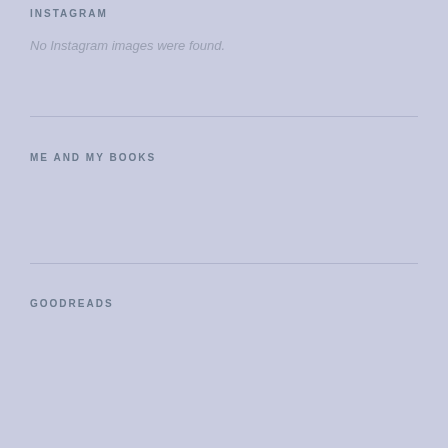INSTAGRAM
No Instagram images were found.
ME AND MY BOOKS
GOODREADS
The Rules of Everything
by Richard Templar
This is a book that is not something I would normally read, so I come to it with no expectations and previous knowledge of the author or his books. This book is